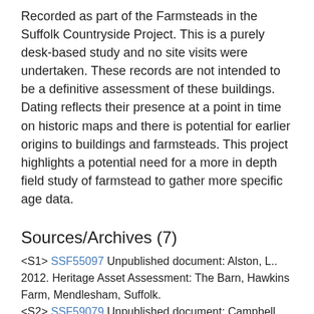Recorded as part of the Farmsteads in the Suffolk Countryside Project. This is a purely desk-based study and no site visits were undertaken. These records are not intended to be a definitive assessment of these buildings. Dating reflects their presence at a point in time on historic maps and there is potential for earlier origins to buildings and farmsteads. This project highlights a potential need for a more in depth field study of farmstead to gather more specific age data.
Sources/Archives (7)
<S1> SSF55097 Unpublished document: Alston, L.. 2012. Heritage Asset Assessment: The Barn, Hawkins Farm, Mendlesham, Suffolk.
<S2> SSF59079 Unpublished document: Campbell, G., and McSorley, G. 2019. SCCAS: Farmsteads in the Suffolk Countryside Project.